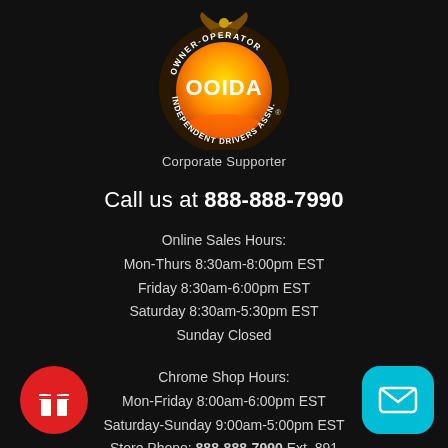[Figure (logo): OOIDA Owner-Operator Independent Drivers Association logo with eagle on top of orange circle, Corporate Supporter text below]
Call us at 888-888-7990
Online Sales Hours:
Mon-Thurs 8:30am-8:00pm EST
Friday 8:30am-6:00pm EST
Saturday 8:30am-5:30pm EST
Sunday Closed
Chrome Shop Hours:
Mon-Friday 8:00am-6:00pm EST
Saturday-Sunday 9:00am-5:00pm EST
Store Phone: 888-888-7990 Ext. 891